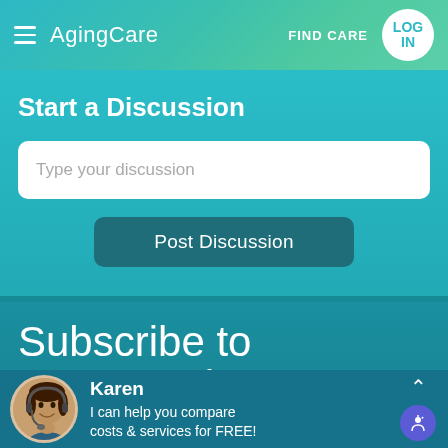AgingCare — FIND CARE — LOG IN
Start a Discussion
Type your discussion
Post Discussion
Subscribe to Our Newsletter
Karen — I can help you compare costs & services for FREE!